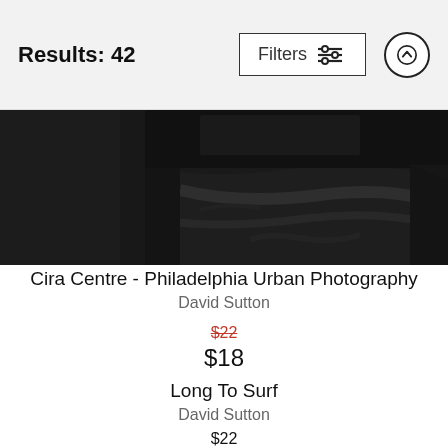Results: 42
Filters
[Figure (photo): A dark black folded fabric/t-shirt product photo on a dark background]
Cira Centre - Philadelphia Urban Photography
David Sutton
$22
$18
Long To Surf
David Sutton
$22